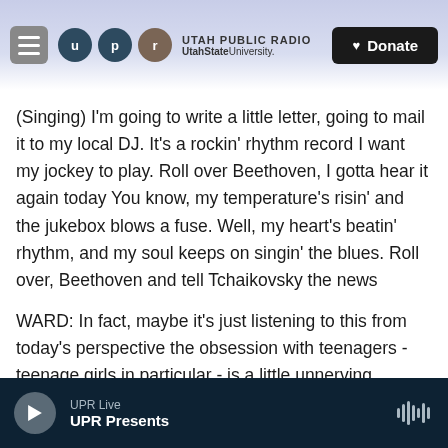UTAH PUBLIC RADIO | UtahStateUniversity.
(Singing) I'm going to write a little letter, going to mail it to my local DJ. It's a rockin' rhythm record I want my jockey to play. Roll over Beethoven, I gotta hear it again today You know, my temperature's risin' and the jukebox blows a fuse. Well, my heart's beatin' rhythm, and my soul keeps on singin' the blues. Roll over, Beethoven and tell Tchaikovsky the news
WARD: In fact, maybe it's just listening to this from today's perspective the obsession with teenagers - teenage girls in particular - is a little unnerving
UPR Live | UPR Presents